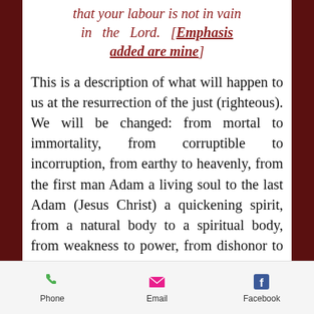that your labour is not in vain in the Lord. [Emphasis added are mine]
This is a description of what will happen to us at the resurrection of the just (righteous). We will be changed: from mortal to immortality, from corruptible to incorruption, from earthy to heavenly, from the first man Adam a living soul to the last Adam (Jesus Christ) a quickening spirit, from a natural body to a spiritual body, from weakness to power, from dishonor to glory
Phone  Email  Facebook